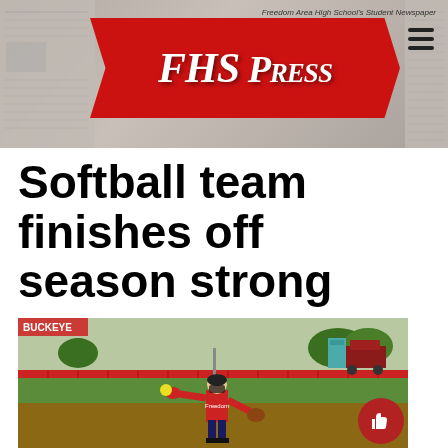[Figure (logo): FHS Press – Freedom Area High School's Student Newspaper banner logo, red lightning bolt shape with gothic white text 'FHS Press' on newspaper background]
Softball team finishes off season strong
[Figure (photo): A softball pitcher in a red Freedom jersey throwing a yellow softball on an outdoor field with red fencing, green grass, and a car visible in the background]